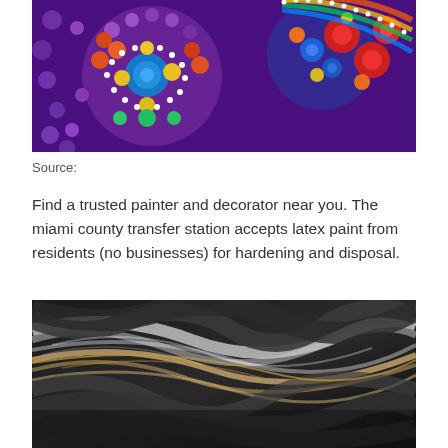[Figure (photo): Close-up photograph of colorful dot-painted mandala art with vibrant blues, reds, oranges, yellows, purples, and greens arranged in circular patterns on stones or canvas.]
Source:
Find a trusted painter and decorator near you. The miami county transfer station accepts latex paint from residents (no businesses) for hardening and disposal.
[Figure (photo): Close-up photograph of black and grey swirling liquid paint pour art with streaks of white, beige, and gold running through dark background.]